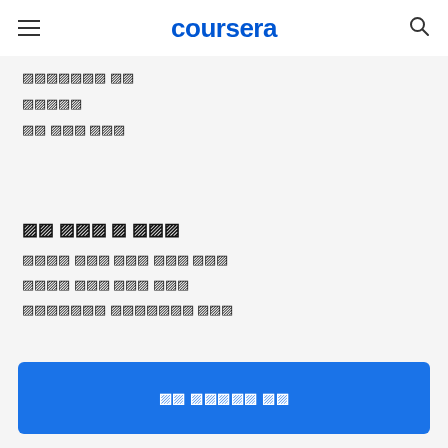coursera
🔲🔲🔲🔲🔲🔲🔲 🔲🔲
🔲🔲🔲🔲🔲
🔲🔲 🔲🔲🔲 🔲🔲🔲
🔲🔲 🔲🔲🔲 🔲 🔲🔲🔲
🔲🔲🔲🔲 🔲🔲🔲 🔲🔲🔲 🔲🔲🔲 🔲🔲🔲
🔲🔲🔲🔲 🔲🔲🔲 🔲🔲🔲 🔲🔲🔲
🔲🔲🔲🔲🔲🔲🔲 🔲🔲🔲🔲🔲🔲🔲 🔲🔲🔲
🔲🔲 🔲🔲🔲🔲🔲 🔲🔲